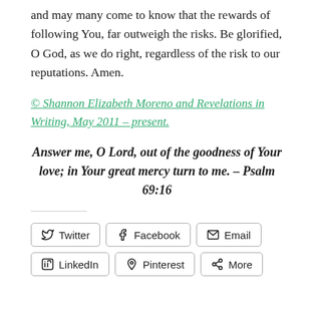and may many come to know that the rewards of following You, far outweigh the risks. Be glorified, O God, as we do right, regardless of the risk to our reputations. Amen.
© Shannon Elizabeth Moreno and Revelations in Writing, May 2011 – present.
Answer me, O Lord, out of the goodness of Your love; in Your great mercy turn to me. – Psalm 69:16
Twitter | Facebook | Email | LinkedIn | Pinterest | More